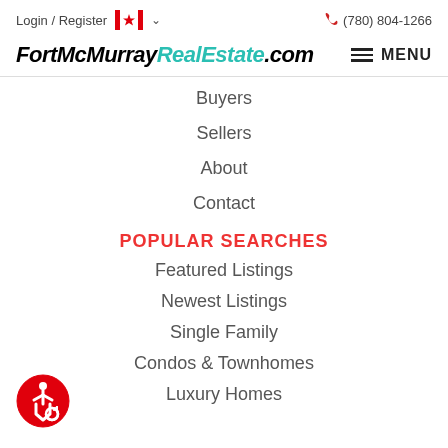Login / Register  🍁  (780) 804-1266
FortMcMurrayRealEstate.com
Buyers
Sellers
About
Contact
POPULAR SEARCHES
Featured Listings
Newest Listings
Single Family
Condos & Townhomes
Luxury Homes
[Figure (logo): Red circular accessibility icon with wheelchair user symbol]